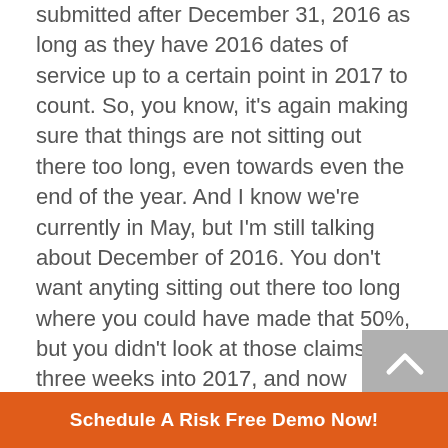submitted after December 31, 2016 as long as they have 2016 dates of service up to a certain point in 2017 to count. So, you know, it's again making sure that things are not sitting out there too long, even towards even the end of the year. And I know we're currently in May, but I'm still talking about December of 2016. You don't want anyting sitting out there too long where you could have made that 50%, but you didn't look at those claims. So three weeks into 2017, and now you've completely lost it. You've lost everything.
Jason: Yep.
Cathy: So, again, you know, our next steps, Jason was very clear about that. If you need help, you know, definitely reach out to us, making sure that you are reporting all your claims to for 2016 for y started, you
[Figure (other): Orange CTA banner button: 'Schedule A Risk Free Demo Now!']